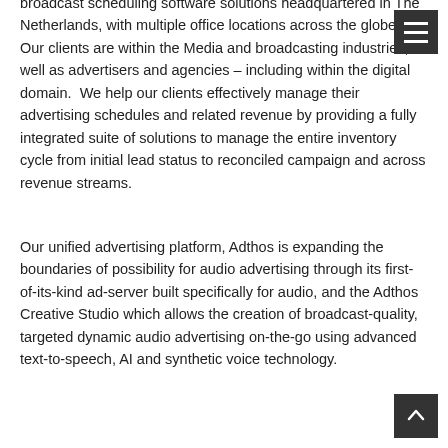broadcast scheduling software solutions headquartered in The Netherlands, with multiple office locations across the globe. Our clients are within the Media and broadcasting industries, as well as advertisers and agencies – including within the digital domain.  We help our clients effectively manage their advertising schedules and related revenue by providing a fully integrated suite of solutions to manage the entire inventory cycle from initial lead status to reconciled campaign and across revenue streams.
Our unified advertising platform, Adthos is expanding the boundaries of possibility for audio advertising through its first-of-its-kind ad-server built specifically for audio, and the Adthos Creative Studio which allows the creation of broadcast-quality, targeted dynamic audio advertising on-the-go using advanced text-to-speech, AI and synthetic voice technology.